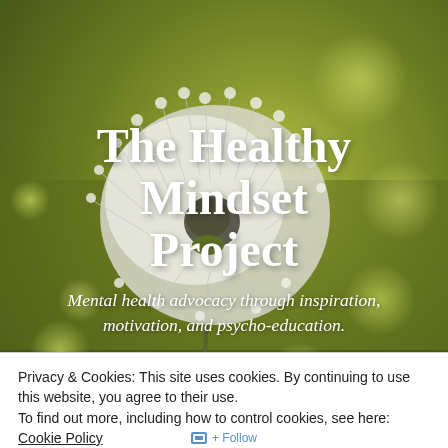[Figure (photo): Background photo of a dandelion with bokeh green bokeh background, misty nature scene]
The Healthy Mindset Project
Mental health advocacy through inspiration, motivation, and psycho-education.
Privacy & Cookies: This site uses cookies. By continuing to use this website, you agree to their use.
To find out more, including how to control cookies, see here: Cookie Policy